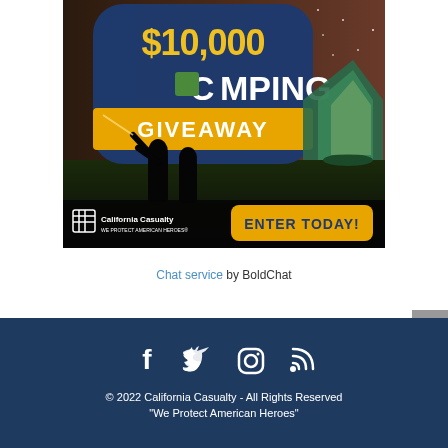[Figure (infographic): California Casualty $10,000 Camping Giveaway promotional banner showing silhouettes of people and a tent under a night sky, with 'ENTER TODAY!' button and California Casualty logo]
Chat service by BoldChat
[Figure (infographic): Social media icons: Facebook, Twitter, Instagram, RSS feed]
© 2022 California Casualty - All Rights Reserved
"We Protect American Heroes"